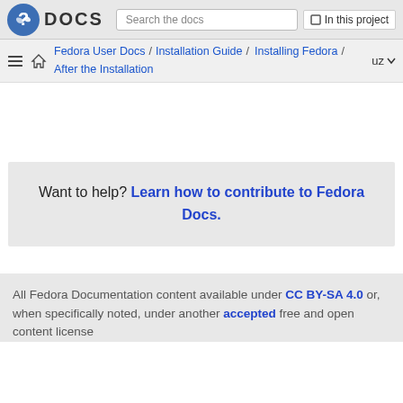Fedora DOCS | Search the docs | In this project
Fedora User Docs / Installation Guide / Installing Fedora / After the Installation  uz
Want to help? Learn how to contribute to Fedora Docs.
All Fedora Documentation content available under CC BY-SA 4.0 or, when specifically noted, under another accepted free and open content license